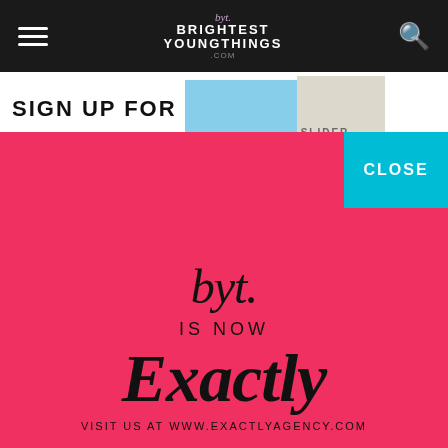[Figure (screenshot): Navigation bar for Brightest Young Things website with hamburger menu on left, BYT logo in center, search icon on right, all on dark background]
SIGN UP FOR
[Figure (photo): Partial photo images visible to the right of SIGN UP FOR text]
[Figure (infographic): BYT is now Exactly modal overlay on pink/red background. Shows byt. script logo, IS NOW text, Exactly in large serif font, VISIT US AT WWW.EXACTLYAGENCY.COM]
CLOSE
[Figure (photo): Dark bottom photo strip showing food/drink items]